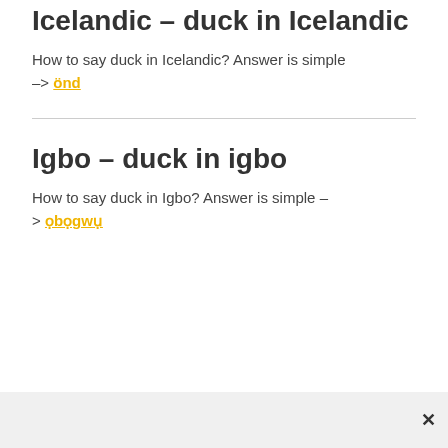Icelandic – duck in Icelandic
How to say duck in Icelandic? Answer is simple -> önd
Igbo – duck in igbo
How to say duck in Igbo? Answer is simple – > ọbọgwụ